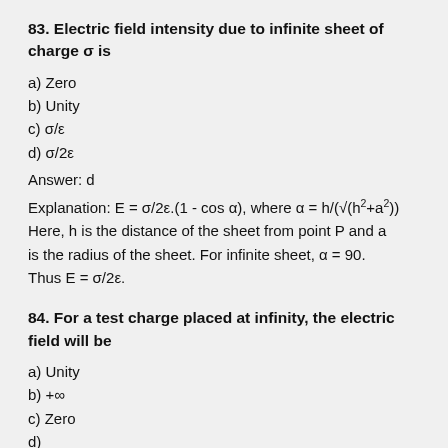83. Electric field intensity due to infinite sheet of charge σ is
a) Zero
b) Unity
c) σ/ε
d) σ/2ε
Answer: d
Explanation: E = σ/2ε.(1 - cos α), where α = h/(√(h²+a²)) Here, h is the distance of the sheet from point P and a is the radius of the sheet. For infinite sheet, α = 90. Thus E = σ/2ε.
84. For a test charge placed at infinity, the electric field will be
a) Unity
b) +∞
c) Zero
d)